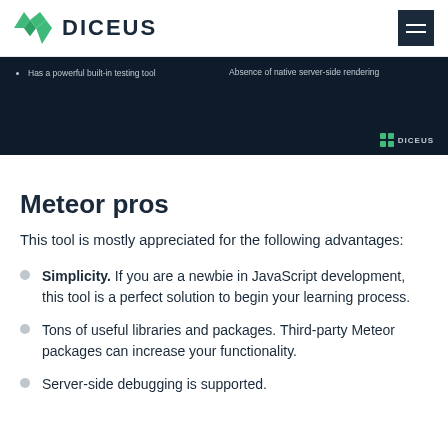DICEUS
[Figure (screenshot): Dark navy banner showing partial content: bullet point 'Has a powerful built-in testing tool' and text 'Absence of native server-side rendering', with DICEUS logo in bottom right corner.]
Meteor pros
This tool is mostly appreciated for the following advantages:
Simplicity. If you are a newbie in JavaScript development, this tool is a perfect solution to begin your learning process.
Tons of useful libraries and packages. Third-party Meteor packages can increase your functionality.
Server-side debugging is supported.